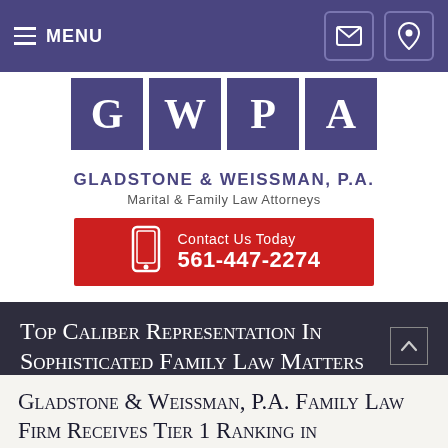MENU
[Figure (logo): GWPA logo with four purple square tiles each containing a letter G, W, P, A in white serif font]
GLADSTONE & WEISSMAN, P.A.
Marital & Family Law Attorneys
Contact Us Today 561-447-2274
Top Caliber Representation In Sophisticated Family Law Matters
Gladstone & Weissman, P.A. Family Law Firm Receives Tier 1 Ranking in